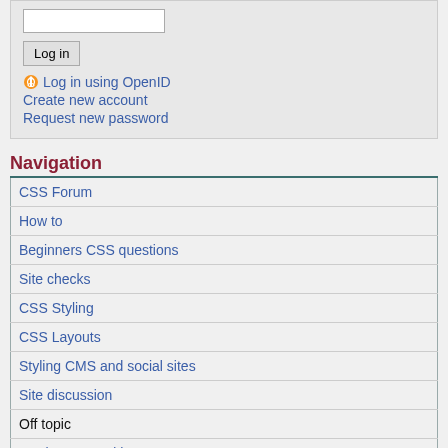[input field]
Log in
Log in using OpenID
Create new account
Request new password
Navigation
| CSS Forum |
| How to |
| Beginners CSS questions |
| Site checks |
| CSS Styling |
| CSS Layouts |
| Styling CMS and social sites |
| Site discussion |
| Off topic |
| Geek news and humor |
RSS feed